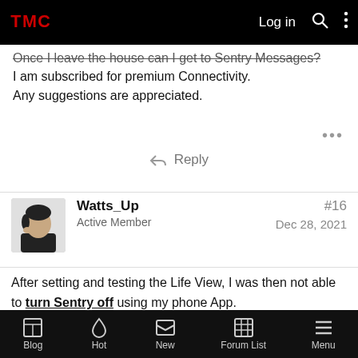TMC forum header with Log in, search, and menu icons
I am subscribed for premium Connectivity.
Any suggestions are appreciated.
Reply
Watts_Up
Active Member
#16
Dec 28, 2021
After setting and testing the Life View, I was then not able to turn Sentry off using my phone App.

So I had to toggle off the "View Live Camera via Mobile App" from the car menu to be able to turn Sentry off.
Blog  Hot  New  Forum List  Menu